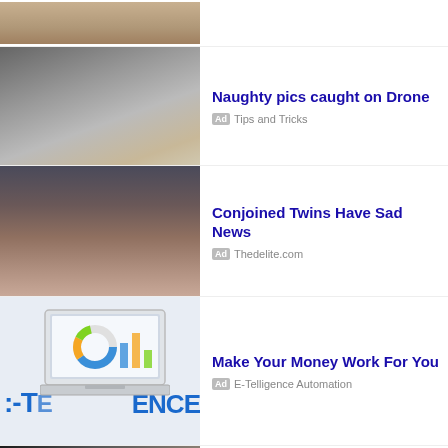[Figure (photo): Partial view of outdoor scene, top of page (cropped)]
[Figure (photo): Woman holding a bat or stick outdoors on a paved surface]
Naughty pics caught on Drone
Ad  Tips and Tricks
[Figure (photo): Two women (conjoined twins) posing together, smiling]
Conjoined Twins Have Sad News
Ad  Thedelite.com
[Figure (screenshot): Laptop showing a dashboard with a donut chart; brand text E-TELLIGENCE partially visible]
Make Your Money Work For You
Ad  E-Telligence Automation
[Figure (photo): Woman smiling and raising hands, partial view (debt consolidation ad)]
Debt Consolidation Programs
Ad  Yahoo Search